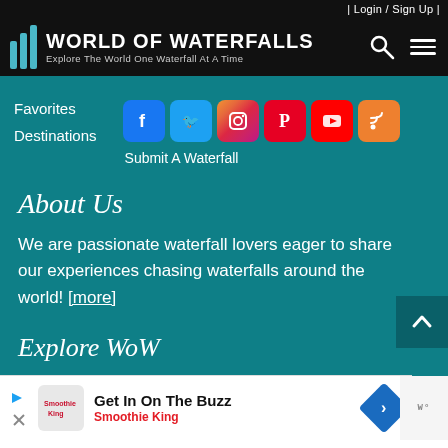| Login / Sign Up |
World of Waterfalls — Explore The World One Waterfall At A Time
Favorites
Destinations
[Figure (other): Social media icons: Facebook, Twitter, Instagram, Pinterest, YouTube, RSS]
Submit A Waterfall
About Us
We are passionate waterfall lovers eager to share our experiences chasing waterfalls around the world! [more]
Explore WoW
[Figure (other): Advertisement: Get In On The Buzz — Smoothie King]